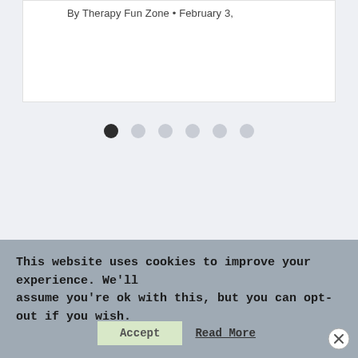By Therapy Fun Zone • February 3,
[Figure (other): Pagination dots: one filled dark dot followed by five light gray dots, indicating a carousel position indicator]
This website uses cookies to improve your experience. We'll assume you're ok with this, but you can opt-out if you wish.
Accept   Read More